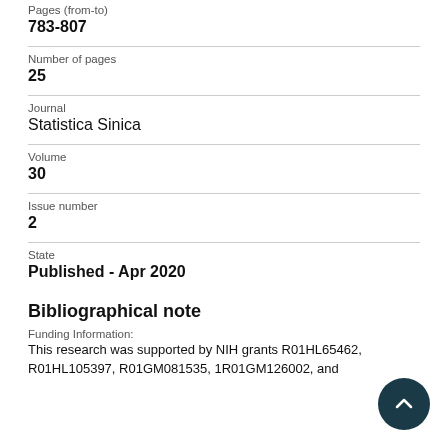Pages (from-to)
783-807
Number of pages
25
Journal
Statistica Sinica
Volume
30
Issue number
2
State
Published - Apr 2020
Bibliographical note
Funding Information:
This research was supported by NIH grants R01HL65462, R01HL105397, R01GM081535, 1R01GM126002, and